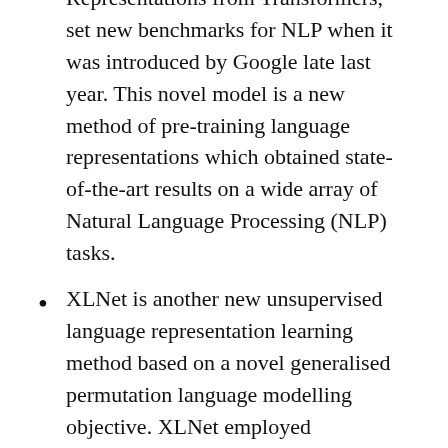Representations from Transformers, set new benchmarks for NLP when it was introduced by Google late last year. This novel model is a new method of pre-training language representations which obtained state-of-the-art results on a wide array of Natural Language Processing (NLP) tasks.
XLNet is another new unsupervised language representation learning method based on a novel generalised permutation language modelling objective. XLNet employed Transformer-XL as the backbone model, exhibiting excellent performance for language tasks involving